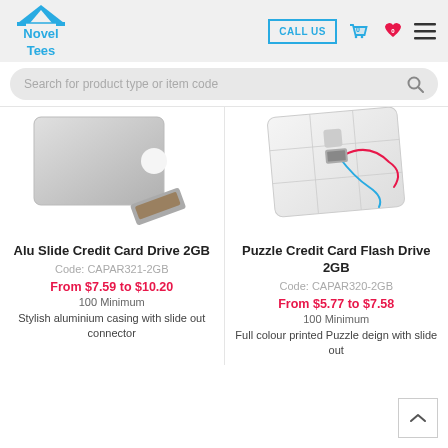Novel Tees — CALL US
Search for product type or item code
[Figure (photo): Alu Slide Credit Card Drive 2GB — silver aluminium card with slide-out USB connector]
Alu Slide Credit Card Drive 2GB
Code: CAPAR321-2GB
From $7.59 to $10.20
100 Minimum
Stylish aluminium casing with slide out connector
[Figure (photo): Puzzle Credit Card Flash Drive 2GB — white puzzle-piece credit card with USB connector and coloured wires]
Puzzle Credit Card Flash Drive 2GB
Code: CAPAR320-2GB
From $5.77 to $7.58
100 Minimum
Full colour printed Puzzle deign with slide out